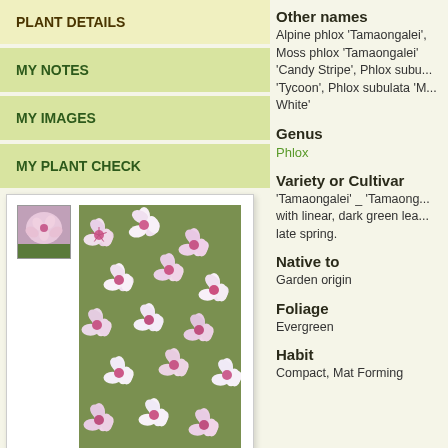PLANT DETAILS
MY NOTES
MY IMAGES
MY PLANT CHECK
[Figure (photo): Photo of Phlox subulata 'Tamaongalei' flowers — pink and white star-shaped blooms with thumbnail on the left]
Login to upload a photo
Other names
Alpine phlox 'Tamaongalei', Moss phlox 'Tamaongalei' 'Candy Stripe', Phlox subulata 'Tycoon', Phlox subulata 'MacDaniel's White'
Genus
Phlox
Variety or Cultivar
'Tamaongalei' _ 'Tamaong... with linear, dark green lea... late spring.
Native to
Garden origin
Foliage
Evergreen
Habit
Compact, Mat Forming